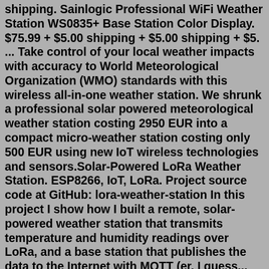shipping. Sainlogic Professional WiFi Weather Station WS0835+ Base Station Color Display. $75.99 + $5.00 shipping + $5.00 shipping + $5. ... Take control of your local weather impacts with accuracy to World Meteorological Organization (WMO) standards with this wireless all-in-one weather station. We shrunk a professional solar powered meteorological weather station costing 2950 EUR into a compact micro-weather station costing only 500 EUR using new IoT wireless technologies and sensors.Solar-Powered LoRa Weather Station. ESP8266, IoT, LoRa. Project source code at GitHub: lora-weather-station In this project I show how I built a remote, solar-powered weather station that transmits temperature and humidity readings over LoRa, and a base station that publishes the data to the Internet with MQTT (er, I guess... Call 01243 558280, click on the webchat box below, or fill out our contact form. 27 Items. Sort By. Davis Vantage Pro2 Wireless Sensor Suite & WeatherLink Live Bundle 6112. £665.00 £554.17. Add to Basket. Add to